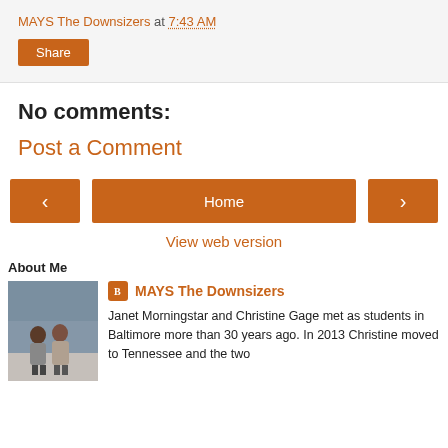MAYS The Downsizers at 7:43 AM
Share
No comments:
Post a Comment
‹
Home
›
View web version
About Me
[Figure (photo): Photo of two people standing together outdoors on an elevated viewpoint]
MAYS The Downsizers
Janet Morningstar and Christine Gage met as students in Baltimore more than 30 years ago. In 2013 Christine moved to Tennessee and the two